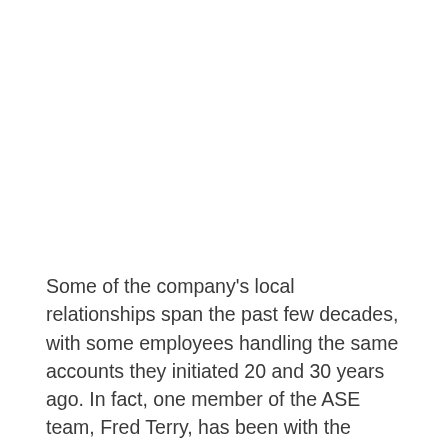Some of the company's local relationships span the past few decades, with some employees handling the same accounts they initiated 20 and 30 years ago. In fact, one member of the ASE team, Fred Terry, has been with the company 50 years. That type of long-term loyalty helps with new projects as well as